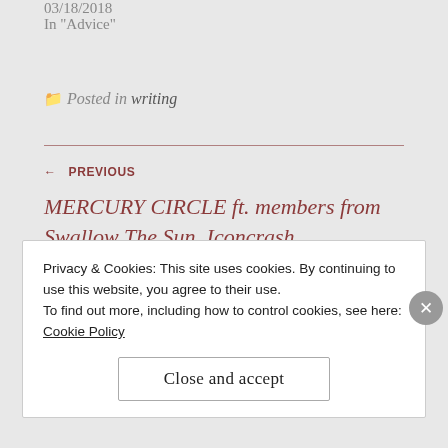03/18/2018
In "Advice"
Posted in writing
← PREVIOUS
MERCURY CIRCLE ft. members from Swallow The Sun, Iconcrash, To/Die/For, Hanging Garden, and Rytmihäiriö
Privacy & Cookies: This site uses cookies. By continuing to use this website, you agree to their use. To find out more, including how to control cookies, see here: Cookie Policy
Close and accept